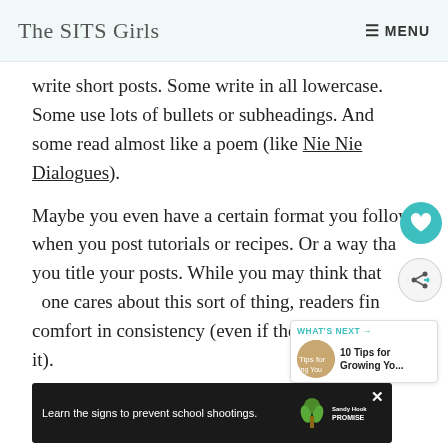The SITS Girls  MENU
write short posts. Some write in all lowercase. Some use lots of bullets or subheadings. And some read almost like a poem (like Nie Nie Dialogues).
Maybe you even have a certain format you follow when you post tutorials or recipes. Or a way that you title your posts. While you may think that one cares about this sort of thing, readers find comfort in consistency (even if they do it).
[Figure (screenshot): Ad banner: Learn the signs to prevent school shootings. Sandy Hook Promise logo.]
Blo... They...